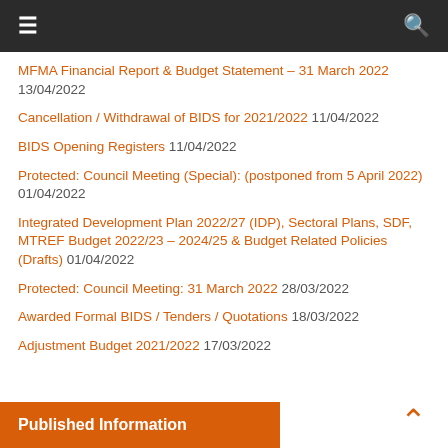Navigation bar with hamburger menu and search icon
MFMA Financial Report & Budget Statement – 31 March 2022 13/04/2022
Cancellation / Withdrawal of BIDS for 2021/2022 11/04/2022
BIDS Opening Registers 11/04/2022
Protected: Council Meeting (Special): (postponed from 5 April 2022) 01/04/2022
Integrated Development Plan 2022/27 (IDP), Sectoral Plans, SDF, MTREF Budget 2022/23 – 2024/25 & Budget Related Policies (Drafts) 01/04/2022
Protected: Council Meeting: 31 March 2022 28/03/2022
Awarded Formal BIDS / Tenders / Quotations 18/03/2022
Adjustment Budget 2021/2022 17/03/2022
Published Information